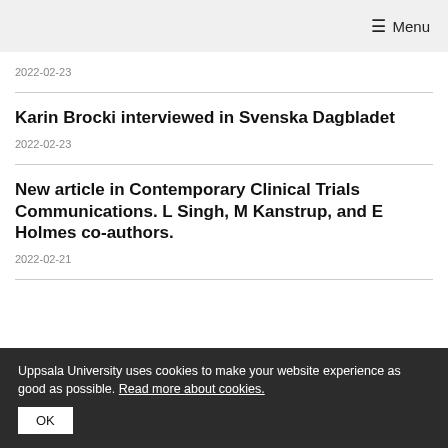≡ Menu
2022-02-23
Karin Brocki interviewed in Svenska Dagbladet
2022-02-23
New article in Contemporary Clinical Trials Communications. L Singh, M Kanstrup, and E Holmes co-authors.
2022-02-21
Uppsala University uses cookies to make your website experience as good as possible. Read more about cookies.